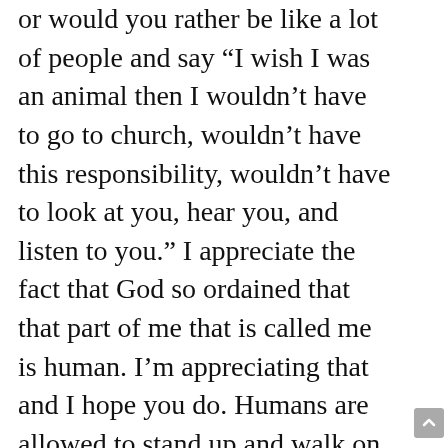or would you rather be like a lot of people and say “I wish I was an animal then I wouldn’t have to go to church, wouldn’t have this responsibility, wouldn’t have to look at you, hear you, and listen to you.” I appreciate the fact that God so ordained that that part of me that is called me is human. I’m appreciating that and I hope you do. Humans are allowed to stand up and walk on their own feet. Humans have been given, from God, the ability to know right from wrong. Humans have been given the ability to reason things out and to remember things. I appreciate the fact that I am not a brute beast